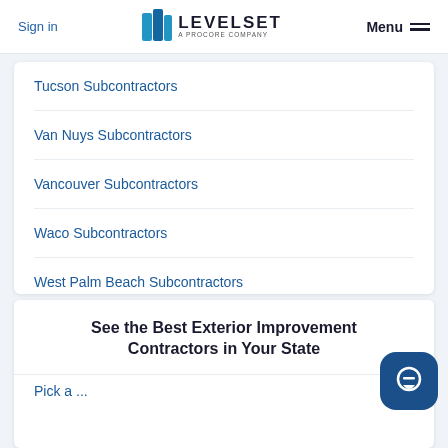Sign in | LEVELSET A PROCORE COMPANY | Menu
Tucson Subcontractors
Van Nuys Subcontractors
Vancouver Subcontractors
Waco Subcontractors
West Palm Beach Subcontractors
See the Best Exterior Improvement Contractors in Your State